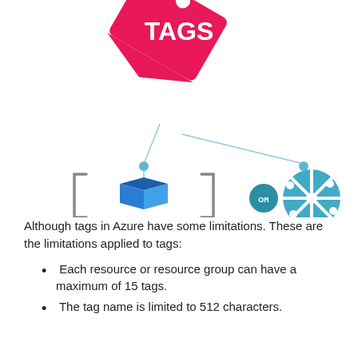[Figure (infographic): Azure tags infographic: A pink price-tag with 'TAGS' written in white at the top center, with two light-blue lines descending to a blue dot each. Left branch leads to an Azure resource group icon (3D box in bracket), right branch leads to an Azure globe/network icon. A teal circle with 'OR' text sits between the two icons.]
Although tags in Azure have some limitations. These are the limitations applied to tags:
Each resource or resource group can have a maximum of 15 tags.
The tag name is limited to 512 characters.